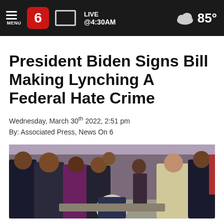MENU | 6 | LIVE @4:30AM | 85°
President Biden Signs Bill Making Lynching A Federal Hate Crime
Wednesday, March 30th 2022, 2:51 pm
By: Associated Press, News On 6
[Figure (photo): President Biden seated at a table signing a bill, surrounded by officials including Vice President Kamala Harris and Speaker Nancy Pelosi, outdoors at what appears to be the White House.]